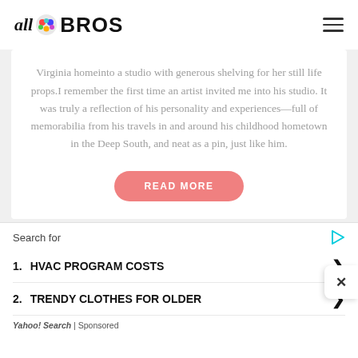all BROS
Virginia homeinto a studio with generous shelving for her still life props.I remember the first time an artist invited me into his studio. It was truly a reflection of his personality and experiences—full of memorabilia from his travels in and around his childhood hometown in the Deep South, and neat as a pin, just like him.
READ MORE
Search for
1. HVAC PROGRAM COSTS
2. TRENDY CLOTHES FOR OLDER
Yahoo! Search | Sponsored